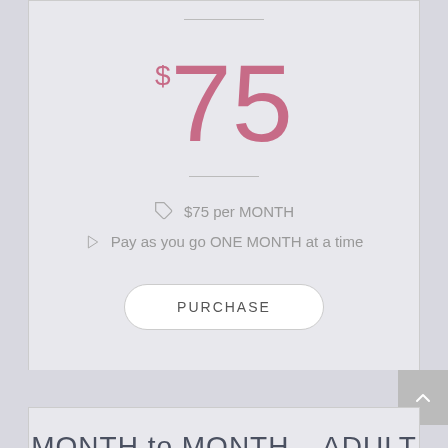$75
$75 per MONTH
Pay as you go ONE MONTH at a time
PURCHASE
MONTH to MONTH - ADULT